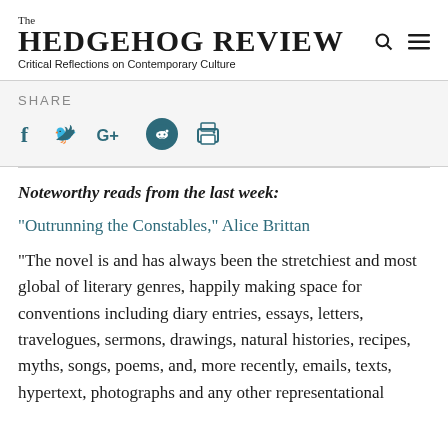The HEDGEHOG REVIEW — Critical Reflections on Contemporary Culture
SHARE
[Figure (illustration): Social share icons: Facebook (f), Twitter (bird), Google+ (G+), Reddit (alien circle), Print (printer)]
Noteworthy reads from the last week:
"Outrunning the Constables," Alice Brittan
"The novel is and has always been the stretchiest and most global of literary genres, happily making space for conventions including diary entries, essays, letters, travelogues, sermons, drawings, natural histories, recipes, myths, songs, poems, and, more recently, emails, texts, hypertext, photographs and any other representational